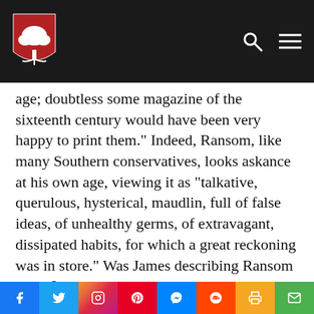Intercollegiate Studies Institute header with logo and navigation icons
age; doubtless some magazine of the sixteenth century would have been very happy to print them.” Indeed, Ransom, like many Southern conservatives, looks askance at his own age, viewing it as “talkative, querulous, hysterical, maudlin, full of false ideas, of unhealthy germs, of extravagant, dissipated habits, for which a great reckoning was in store.” Was James describing Ransom or me?
Social share bar: Facebook, Twitter, Instagram, Pinterest, Messenger, Reddit, Print, Email